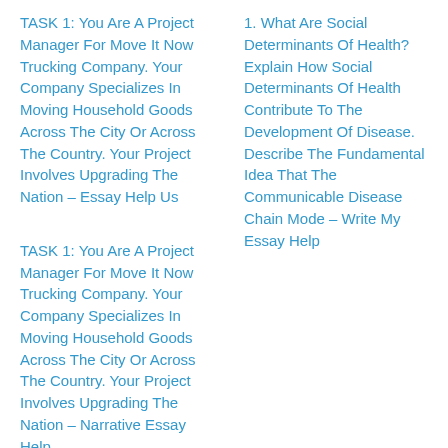TASK 1: You Are A Project Manager For Move It Now Trucking Company. Your Company Specializes In Moving Household Goods Across The City Or Across The Country. Your Project Involves Upgrading The Nation – Essay Help Us
1. What Are Social Determinants Of Health? Explain How Social Determinants Of Health Contribute To The Development Of Disease. Describe The Fundamental Idea That The Communicable Disease Chain Mode – Write My Essay Help
TASK 1: You Are A Project Manager For Move It Now Trucking Company. Your Company Specializes In Moving Household Goods Across The City Or Across The Country. Your Project Involves Upgrading The Nation – Narrative Essay Help